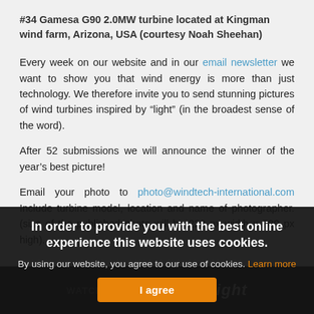#34 Gamesa G90 2.0MW turbine located at Kingman wind farm, Arizona, USA (courtesy Noah Sheehan)
Every week on our website and in our email newsletter we want to show you that wind energy is more than just technology. We therefore invite you to send stunning pictures of wind turbines inspired by “light” (in the broadest sense of the word).
After 52 submissions we will announce the winner of the year’s best picture!
Email your photo to photo@windtech-international.com Include turbine model, location and name of photographer. (size of the published photo will be 220 px width x 280 px high).
In order to provide you with the best online experience this website uses cookies.
By using our website, you agree to our use of cookies. Learn more
I agree